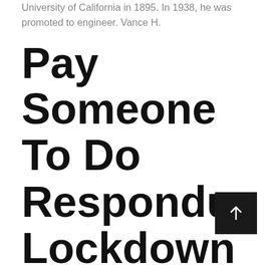University of California in 1895. In 1938, he was promoted to engineer. Vance H.
Pay Someone To Do Respondus Lockdown Browser Exam